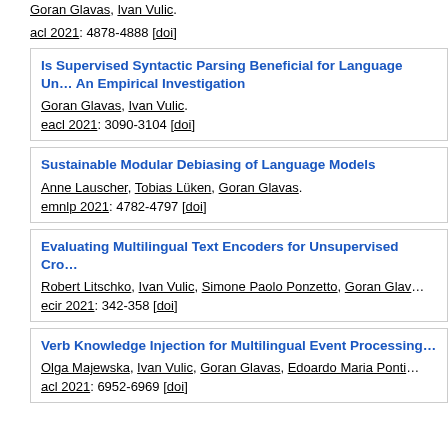Goran Glavas, Ivan Vulic.
acl 2021: 4878-4888 [doi]
Is Supervised Syntactic Parsing Beneficial for Language Understanding? An Empirical Investigation
Goran Glavas, Ivan Vulic.
eacl 2021: 3090-3104 [doi]
Sustainable Modular Debiasing of Language Models
Anne Lauscher, Tobias Lüken, Goran Glavas.
emnlp 2021: 4782-4797 [doi]
Evaluating Multilingual Text Encoders for Unsupervised Cross-Lingual Retrieval
Robert Litschko, Ivan Vulic, Simone Paolo Ponzetto, Goran Glavas
ecir 2021: 342-358 [doi]
Verb Knowledge Injection for Multilingual Event Processing
Olga Majewska, Ivan Vulic, Goran Glavas, Edoardo Maria Ponti
acl 2021: 6952-6969 [doi]